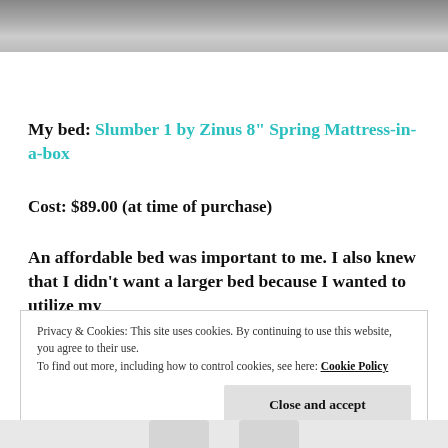[Figure (photo): Top portion of a photo, appears to be a mattress or bedding, gray/silver tones]
My bed: Slumber 1 by Zinus 8" Spring Mattress-in-a-box
Cost: $89.00 (at time of purchase)
An affordable bed was important to me. I also knew that I didn't want a larger bed because I wanted to utilize my
Privacy & Cookies: This site uses cookies. By continuing to use this website, you agree to their use.
To find out more, including how to control cookies, see here: Cookie Policy
Close and accept
[Figure (photo): Bottom strip of a photo, light gray background with two rounded shapes visible]